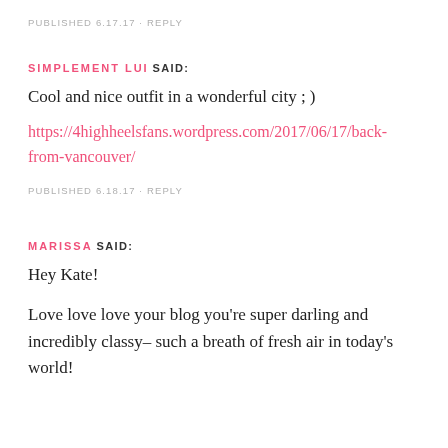PUBLISHED 6.17.17 · REPLY
SIMPLEMENT LUI SAID:
Cool and nice outfit in a wonderful city ; )
https://4highheelsfans.wordpress.com/2017/06/17/back-from-vancouver/
PUBLISHED 6.18.17 · REPLY
MARISSA SAID:
Hey Kate!
Love love love your blog you're super darling and incredibly classy– such a breath of fresh air in today's world!